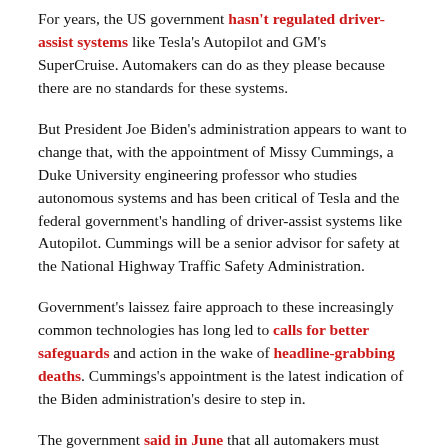For years, the US government hasn't regulated driver-assist systems like Tesla's Autopilot and GM's SuperCruise. Automakers can do as they please because there are no standards for these systems.
But President Joe Biden's administration appears to want to change that, with the appointment of Missy Cummings, a Duke University engineering professor who studies autonomous systems and has been critical of Tesla and the federal government's handling of driver-assist systems like Autopilot. Cummings will be a senior advisor for safety at the National Highway Traffic Safety Administration.
Government's laissez faire approach to these increasingly common technologies has long led to calls for better safeguards and action in the wake of headline-grabbing deaths. Cummings's appointment is the latest indication of the Biden administration's desire to step in.
The government said in June that all automakers must report crashes involving driver-assist systems. It launched an investigation this August into Teslas using Autopilot